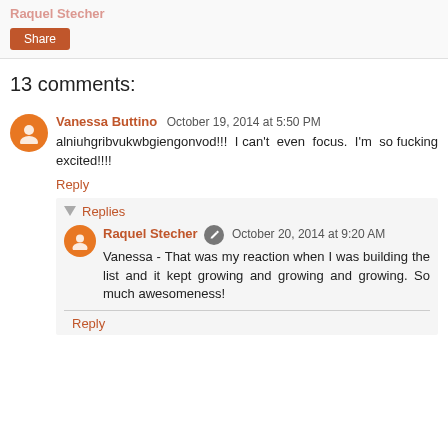Raquel Stecher
Share
13 comments:
Vanessa Buttino  October 19, 2014 at 5:50 PM
alniuhgribvukwbgiengonvod!!!  I can't  even  focus.  I'm  so fucking excited!!!!
Reply
Replies
Raquel Stecher  October 20, 2014 at 9:20 AM
Vanessa - That was my reaction when I was building the list and it kept growing and growing and growing. So much awesomeness!
Reply